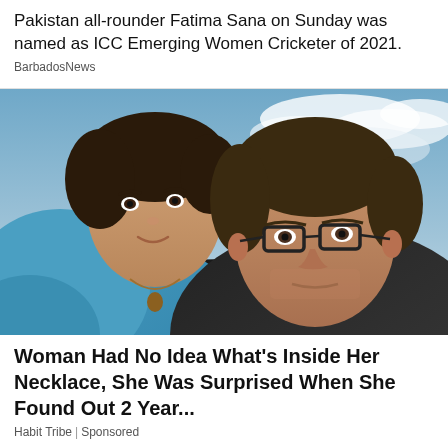Pakistan all-rounder Fatima Sana on Sunday was named as ICC Emerging Women Cricketer of 2021.
BarbadosNews
[Figure (photo): Selfie photo of a woman in a blue jacket and a man with glasses outdoors against a cloudy sky background]
Woman Had No Idea What's Inside Her Necklace, She Was Surprised When She Found Out 2 Year...
Habit Tribe | Sponsored